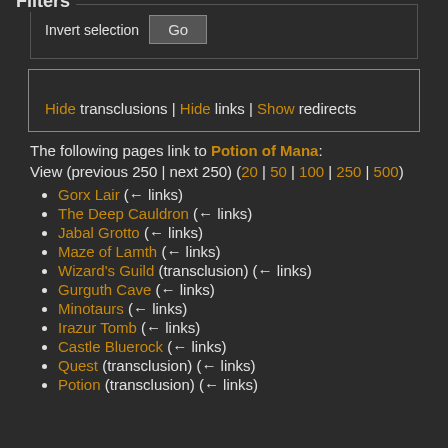Invert selection  Go
Filters
Hide transclusions | Hide links | Show redirects
The following pages link to Potion of Mana:
View (previous 250 | next 250) (20 | 50 | 100 | 250 | 500)
Gorx Lair  (← links)
The Deep Cauldron  (← links)
Jabal Grotto  (← links)
Maze of Lamth  (← links)
Wizard's Guild (transclusion)  (← links)
Gurguth Cave  (← links)
Minotaurs  (← links)
Irazur Tomb  (← links)
Castle Bluerock  (← links)
Quest (transclusion)  (← links)
Potion (transclusion)  (← links)